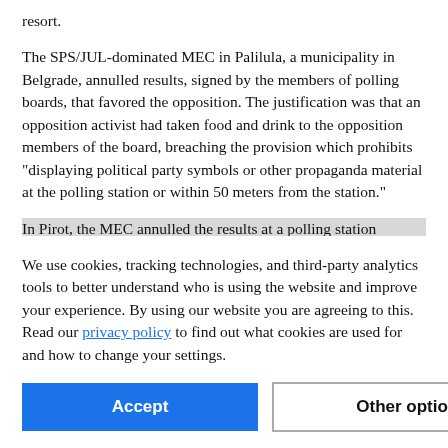resort.
The SPS/JUL-dominated MEC in Palilula, a municipality in Belgrade, annulled results, signed by the members of polling boards, that favored the opposition. The justification was that an opposition activist had taken food and drink to the opposition members of the board, breaching the provision which prohibits "displaying political party symbols or other propaganda material at the polling station or within 50 meters from the station."
In Pirot, the MEC annulled the results at a polling station because the president of the polling board, appointed by the SPS-dominated local assembly, stated post facto that voters were permitted to vote without identity documents. He did not
We use cookies, tracking technologies, and third-party analytics tools to better understand who is using the website and improve your experience. By using our website you are agreeing to this. Read our privacy policy to find out what cookies are used for and how to change your settings.
Accept | Other options